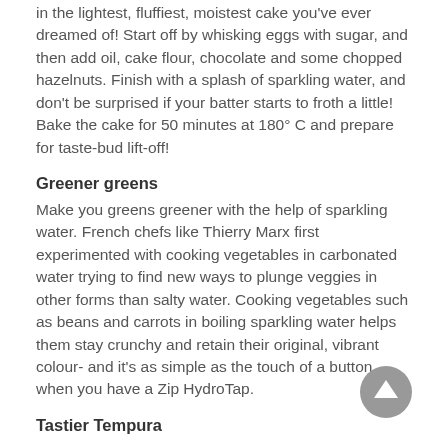in the lightest, fluffiest, moistest cake you've ever dreamed of! Start off by whisking eggs with sugar, and then add oil, cake flour, chocolate and some chopped hazelnuts. Finish with a splash of sparkling water, and don't be surprised if your batter starts to froth a little! Bake the cake for 50 minutes at 180° C and prepare for taste-bud lift-off!
Greener greens
Make you greens greener with the help of sparkling water. French chefs like Thierry Marx first experimented with cooking vegetables in carbonated water trying to find new ways to plunge veggies in other forms than salty water. Cooking vegetables such as beans and carrots in boiling sparkling water helps them stay crunchy and retain their original, vibrant colour- and it's as simple as the touch of a button when you have a Zip HydroTap.
Tastier Tempura